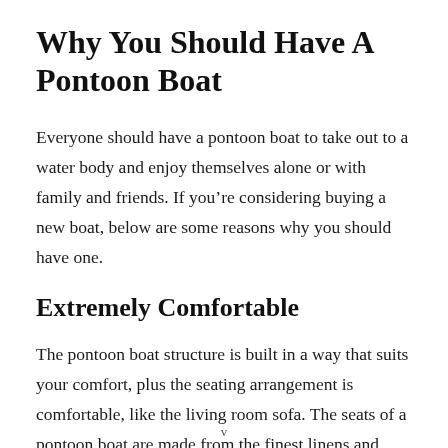Why You Should Have A Pontoon Boat
Everyone should have a pontoon boat to take out to a water body and enjoy themselves alone or with family and friends. If you’re considering buying a new boat, below are some reasons why you should have one.
Extremely Comfortable
The pontoon boat structure is built in a way that suits your comfort, plus the seating arrangement is comfortable, like the living room sofa. The seats of a pontoon boat are made from the finest linens and
v